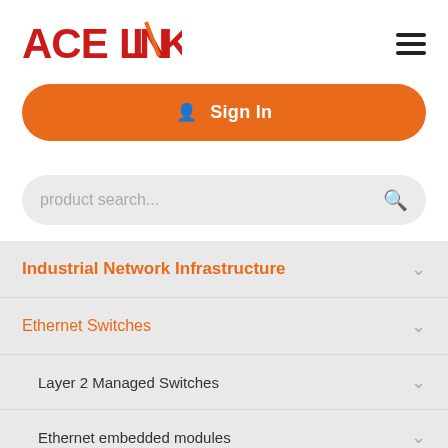[Figure (logo): ACELINK logo in red/orange with diagonal line through the N]
Sign In
product search...
Industrial Network Infrastructure
Ethernet Switches
Layer 2 Managed Switches
Ethernet embedded modules